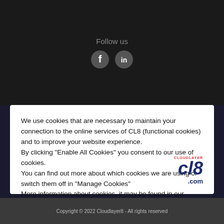Follow us
[Figure (illustration): Social media icons: Facebook and LinkedIn circles on dark background]
We use cookies that are necessary to maintain your connection to the online services of CL8 (functional cookies) and to improve your website experience.
By clicking “Enable All Cookies” you consent to our use of cookies.
You can find out more about which cookies we are using or switch them off in "Manage Cookies"
More information about cookies, it may be found in our cookies policy.
[Figure (logo): CL8.com logo with CLOUDLAYER text in red above cl8 in navy italic with .com below]
Copyright © 2022 Cloudlayer8 - All rights reserved